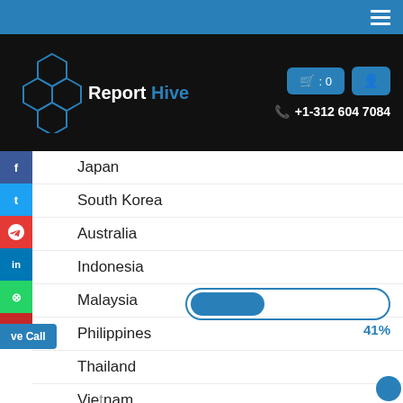Report Hive — +1-312 604 7084
Japan
South Korea
Australia
Indonesia
Malaysia
[Figure (other): Horizontal progress bar showing 41% value, with blue outline and partially filled blue bar]
Philippines
Thailand
Vietnam
Europe
Germany
France
UK
Italy
Russia